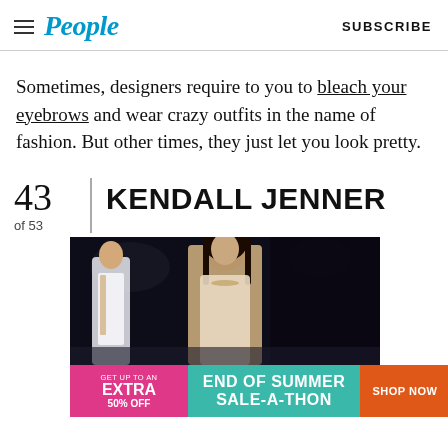People  SUBSCRIBE
Sometimes, designers require to you to bleach your eyebrows and wear crazy outfits in the name of fashion. But other times, they just let you look pretty.
43
of 53
KENDALL JENNER
[Figure (photo): Photo of Kendall Jenner on a fashion runway, dark background]
[Figure (infographic): Advertisement banner: GET UP TO AN EXTRA 50% OFF | END OF SUMMER SALE-A-THON | SHOP NOW]